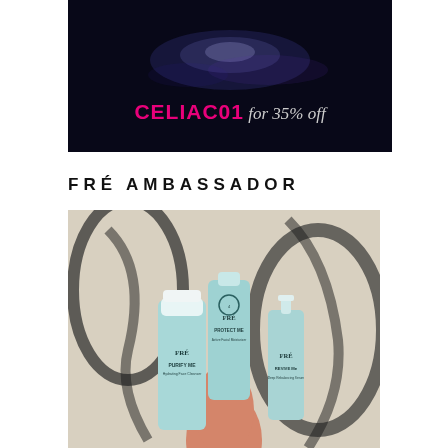[Figure (photo): Dark background banner image with a glowing light effect. Text overlay shows 'CELIAC01 for 35% off' — CELIAC01 in bold magenta/pink, 'for 35% off' in light italic text.]
FRÉ AMBASSADOR
[Figure (photo): A hand holding three FRÉ skincare products — 'PURIFY ME Hydrating Face Cleanser', 'PROTECT ME Active Facial Moisturizer', and 'REVIVE Me Deep Rebalancing Serum' — all in light teal/mint packaging, photographed against a blurred abstract art background.]